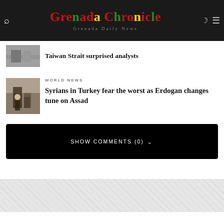Grenada Chronicle — Grenada Daily News
Taiwan Strait surprised analysts
WORLD NEWS
Syrians in Turkey fear the worst as Erdogan changes tune on Assad
SHOW COMMENTS (0)